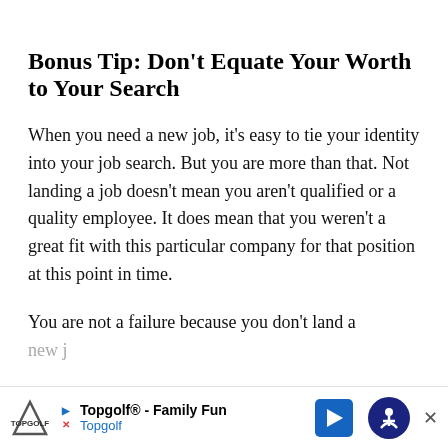Bonus Tip: Don't Equate Your Worth to Your Search
When you need a new job, it's easy to tie your identity into your job search. But you are more than that. Not landing a job doesn't mean you aren't qualified or a quality employee. It does mean that you weren't a great fit with this particular company for that position at this point in time.
You are not a failure because you don't land a new j...
[Figure (screenshot): Advertisement bar at bottom: Topgolf® - Family Fun ad with Topgolf logo, navigation icon, and accessibility icon]